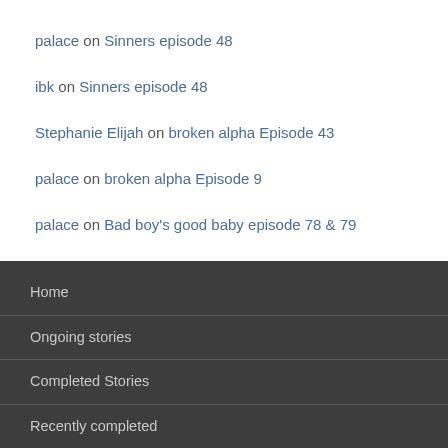palace on Sinners episode 48
ibk on Sinners episode 48
Stephanie Elijah on broken alpha Episode 43
palace on broken alpha Episode 9
palace on Bad boy's good baby episode 78 & 79
Home
Ongoing stories
Completed Stories
Recently completed